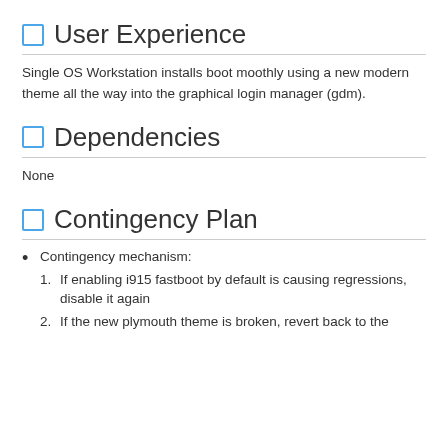3. Reboot, check that the monitor stays on at all time and that all graphics transitions until gdm is shown are smooth
User Experience
Single OS Workstation installs boot moothly using a new modern theme all the way into the graphical login manager (gdm).
Dependencies
None
Contingency Plan
Contingency mechanism:
1. If enabling i915 fastboot by default is causing regressions, disable it again
2. If the new plymouth theme is broken, revert back to the